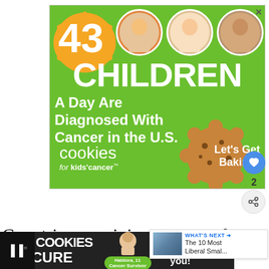[Figure (illustration): Green banner advertisement for 'Cookies for Kids Cancer': shows '43 CHILDREN A Day Are Diagnosed With Cancer in the U.S.' with photos of three children and cookie imagery with 'Let's Get Baking' call to action]
Countries remaining on an exclusively non-metric system risk being left behind in global trade.
[Figure (illustration): 'What's Next' overlay with thumbnail of landscape and text 'The 10 Most Liberal Smal...']
[Figure (illustration): Bottom banner ad for 'I Bake COOKIES For A CURE' featuring Haldora, 11, Cancer Survivor, with cookies for kids cancer logo and 'So can you!' text]